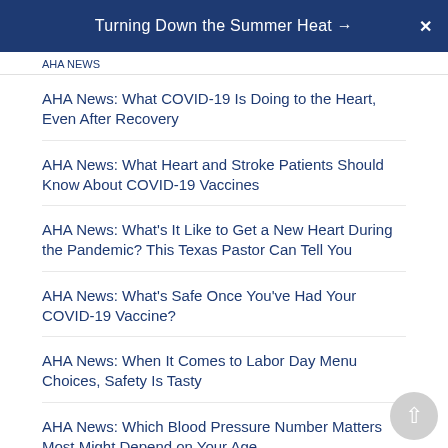Turning Down the Summer Heat →  X
AHA NEWS
AHA News: What COVID-19 Is Doing to the Heart, Even After Recovery
AHA News: What Heart and Stroke Patients Should Know About COVID-19 Vaccines
AHA News: What's It Like to Get a New Heart During the Pandemic? This Texas Pastor Can Tell You
AHA News: What's Safe Once You've Had Your COVID-19 Vaccine?
AHA News: When It Comes to Labor Day Menu Choices, Safety Is Tasty
AHA News: Which Blood Pressure Number Matters Most Might Depend on Your Age
AHA News: While Vacationing on an Isolated Island, She Had a Stroke